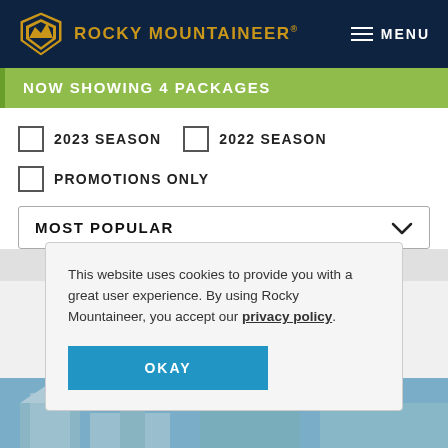ROCKY MOUNTAINEER  MENU
NOW SHOWING 4 PACKAGES
2023 SEASON
2022 SEASON
PROMOTIONS ONLY
MOST POPULAR
This website uses cookies to provide you with a great user experience. By using Rocky Mountaineer, you accept our privacy policy.
OKAY